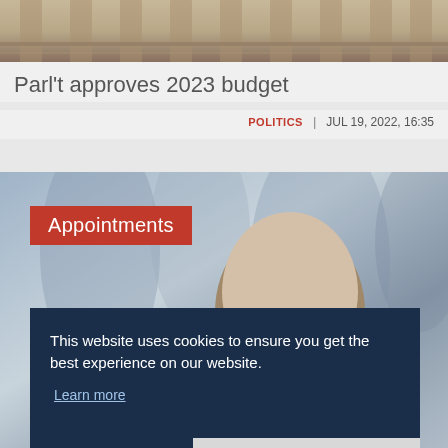[Figure (photo): Top of a government or parliament building, showing architectural arches and columns with warm golden-brown tones]
Parl't approves 2023 budget
POLITICS | JUL 19, 2022, 16:35
[Figure (photo): A bald man's face partially visible behind a red 'Appointments' label banner, with a blurred blue institutional background]
This website uses cookies to ensure you get the best experience on our website. Learn more
Decline
Allow cookies